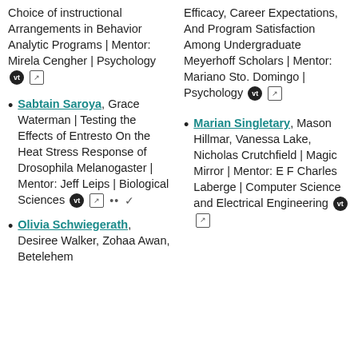Choice of instructional Arrangements in Behavior Analytic Programs | Mentor: Mirela Cengher | Psychology [vt] [ext]
Sabtain Saroya, Grace Waterman | Testing the Effects of Entresto On the Heat Stress Response of Drosophila Melanogaster | Mentor: Jeff Leips | Biological Sciences [vt] [ext] .. ✓
Olivia Schwiegerath, Desiree Walker, Zohaa Awan, Betelehem
Efficacy, Career Expectations, And Program Satisfaction Among Undergraduate Meyerhoff Scholars | Mentor: Mariano Sto. Domingo | Psychology [vt] [ext]
Marian Singletary, Mason Hillmar, Vanessa Lake, Nicholas Crutchfield | Magic Mirror | Mentor: E F Charles Laberge | Computer Science and Electrical Engineering [vt] [ext]